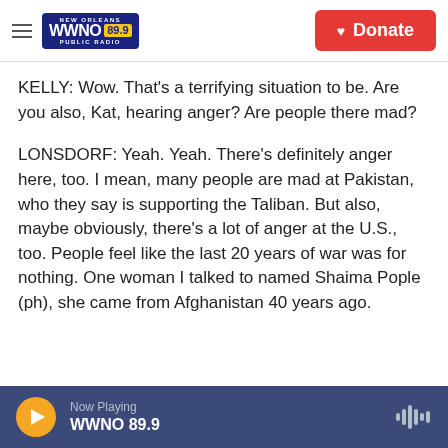WWNO 89.9 New Orleans Public Radio — Donate
KELLY: Wow. That's a terrifying situation to be. Are you also, Kat, hearing anger? Are people there mad?
LONSDORF: Yeah. Yeah. There's definitely anger here, too. I mean, many people are mad at Pakistan, who they say is supporting the Taliban. But also, maybe obviously, there's a lot of anger at the U.S., too. People feel like the last 20 years of war was for nothing. One woman I talked to named Shaima Pople (ph), she came from Afghanistan 40 years ago.
Now Playing WWNO 89.9